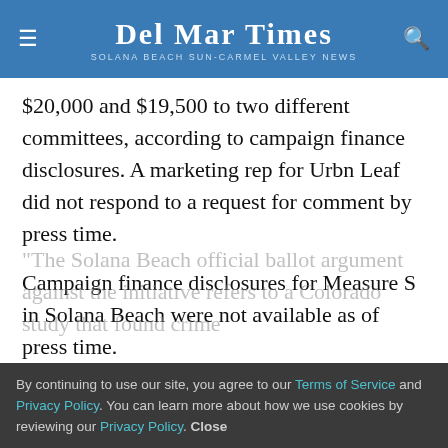Del Mar Times — Solana Beach Sun-Carmel Valley News
$20,000 and $19,500 to two different committees, according to campaign finance disclosures. A marketing rep for Urbn Leaf did not respond to a request for comment by press time.
Campaign finance disclosures for Measure S in Solana Beach were not available as of press time.
Opponents of the measure point to the effects that cannabis businesses could have on their communities.
The Solana Beach official ballot argument against the initiative refers to a Colorado study that found crime
By continuing to use our site, you agree to our Terms of Service and Privacy Policy. You can learn more about how we use cookies by reviewing our Privacy Policy. Close